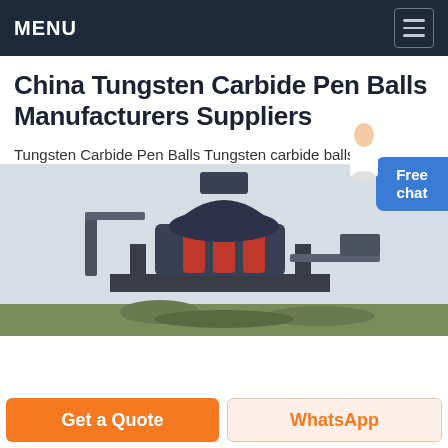MENU
China Tungsten Carbide Pen Balls Manufacturers Suppliers
Tungsten Carbide Pen Balls Tungsten carbide balls for ballpoint pen size range from 0.4mm to 1.6mm .G10 precision miniature Tungsten carbide pen balls are used by the writing instrument industry in oil based water based gel ink ball point pens and rolling ball pens.
Chat Online
[Figure (photo): Industrial machinery/equipment – a large cone crusher or mining machine on a platform, dark colored with red accents, outdoors with rubble below.]
Get a Quote
WhatsApp